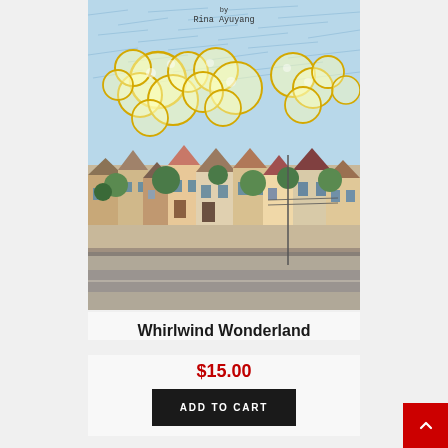[Figure (illustration): Book cover of 'Whirlwind Wonderland' by Rina Ayuyang showing a colorful hand-drawn illustration of a neighborhood with houses, streets, trees, and large bubble/whirlpool shapes floating in a blue sky above the city.]
Whirlwind Wonderland
$15.00
ADD TO CART